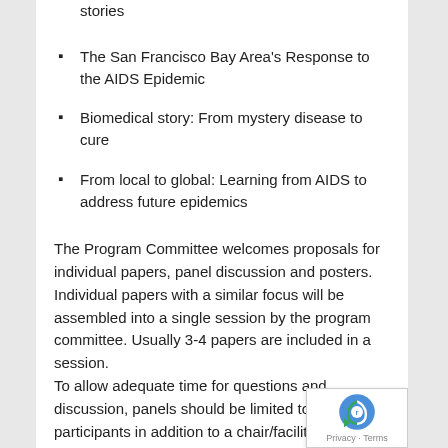Client no more: Community, caretaker and patient stories
The San Francisco Bay Area's Response to the AIDS Epidemic
Biomedical story: From mystery disease to cure
From local to global: Learning from AIDS to address future epidemics
The Program Committee welcomes proposals for individual papers, panel discussion and posters. Individual papers with a similar focus will be assembled into a single session by the program committee. Usually 3-4 papers are included in a session.
To allow adequate time for questions and discussion, panels should be limited to four participants in addition to a chair/facilitator.
Please include the following in your complete proposal
Session title if submitting a full panel proposal (of no